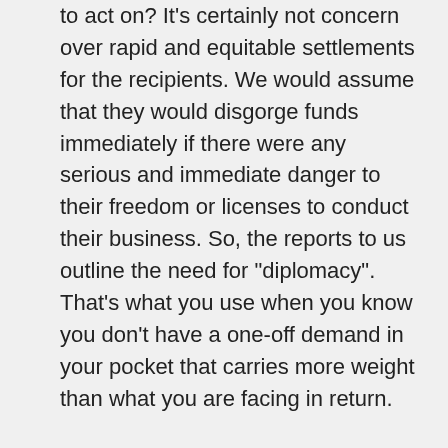to act on? It’s certainly not concern over rapid and equitable settlements for the recipients. We would assume that they would disgorge funds immediately if there were any serious and immediate danger to their freedom or licenses to conduct their business. So, the reports to us outline the need for “diplomacy”. That’s what you use when you know you don’t have a one-off demand in your pocket that carries more weight than what you are facing in return.
I do not believe that there is any